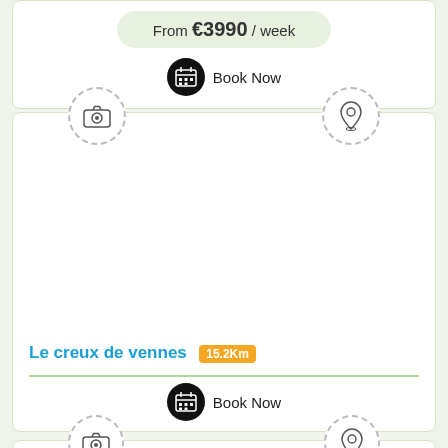From €3990 / week
Book Now
[Figure (illustration): Listing card for 'Le creux de vennes' with camera icon and map pin icon at top, large empty image area, title with distance badge, divider, and Book Now button]
Le creux de vennes 15.2Km
Book Now
[Figure (illustration): Bottom partial card with camera icon and map pin icon visible at top]